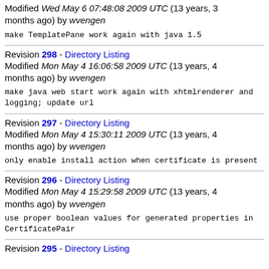Modified Wed May 6 07:48:08 2009 UTC (13 years, 3 months ago) by wvengen
make TemplatePane work again with java 1.5
Revision 298 - Directory Listing
Modified Mon May 4 16:06:58 2009 UTC (13 years, 4 months ago) by wvengen
make java web start work again with xhtmlrenderer and logging; update url
Revision 297 - Directory Listing
Modified Mon May 4 15:30:11 2009 UTC (13 years, 4 months ago) by wvengen
only enable install action when certificate is present
Revision 296 - Directory Listing
Modified Mon May 4 15:29:58 2009 UTC (13 years, 4 months ago) by wvengen
use proper boolean values for generated properties in CertificatePair
Revision 295 - Directory Listing